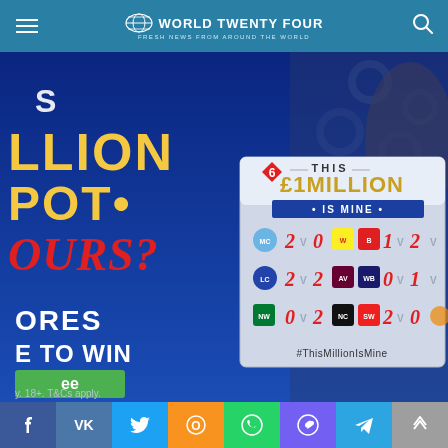WORLD TWENTY FOUR — FRESH NEWS FROM AROUND THE WORLD
[Figure (photo): Advertisement banner for a football scoring game featuring a £1 Million jackpot prize. Left side shows partial text 'S, LLION, POT, OURS?' in gold on blue background, and 'ORES E TO WIN ee' with green button. Right side shows a person holding a score card reading 'THIS £1MILLION • IS MINE •' with football club badges and scores, hashtag #ThisMillionIsMine at bottom. Text 'y. 18+. T&Cs apply.' at bottom.]
f  VK  🐦  OK  WhatsApp  Viber  Telegram  ▲